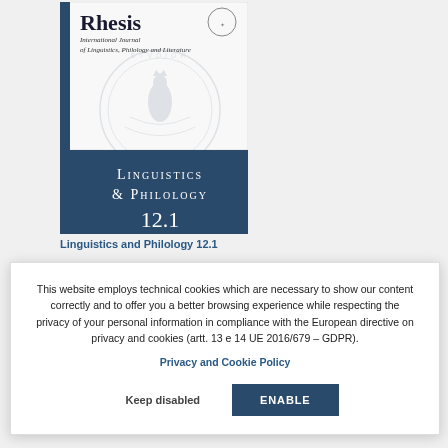[Figure (illustration): Journal cover of Rhesis: International Journal of Linguistics, Philology and Literature, volume 12.1. Upper white section with title 'Rhesis' and subtitle in italic 'International Journal of Linguistics, Philology and Literature', emblem/crest in top right. Middle section shows a faint university seal watermark with Madonna figure. Lower dark blue section shows 'Linguistics & Philology 12.1' in large spaced capitals.]
Linguistics and Philology 12.1
This website employs technical cookies which are necessary to show our content correctly and to offer you a better browsing experience while respecting the privacy of your personal information in compliance with the European directive on privacy and cookies (artt. 13 e 14 UE 2016/679 – GDPR).
Privacy and Cookie Policy
Keep disabled
ENABLE